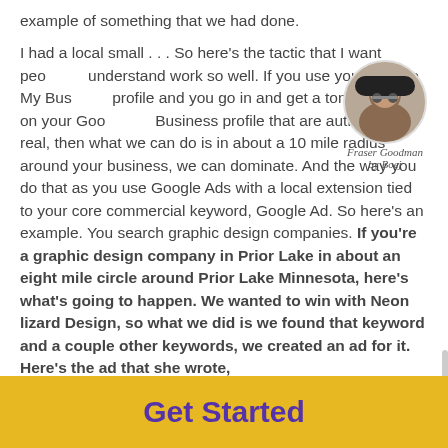example of something that we had done.
I had a local small . . . So here’s the tactic that I want people to understand work so well. If you use your Google My Business profile and you go in and get a ton of reviews on your Google My Business profile that are authentic and real, then what we can do is in about a 10 mile radius around your business, we can dominate. And the way you do that as you use Google Ads with a local extension tied to your core commercial keyword, Google Ad. So here’s an example. You search graphic design companies. If you’re a graphic design company in Prior Lake in about an eight mile circle around Prior Lake Minnesota, here’s what’s going to happen. We wanted to win with Neon lizard Design, so what we did is we found that keyword and a couple other keywords, we created an ad for it. Here’s the ad that she wrote,
[Figure (photo): Circular profile photo of a person wearing glasses and a dark hat, with text 'Fraser Goodman by Boej' below]
Neon Lizard Creative, local quality graphic design in Prior Lake Minnesota.
Get Started